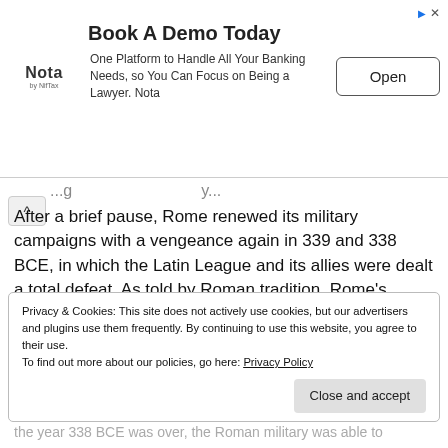[Figure (other): Advertisement banner: 'Book A Demo Today' for Nota banking platform with Open button]
After a brief pause, Rome renewed its military campaigns with a vengeance again in 339 and 338 BCE, in which the Latin League and its allies were dealt a total defeat. As told by Roman tradition, Rome's consuls for 338 BCE (Lucius Furius Camillus and Gaius Maenius) were able to quickly hunt down and ambush the smaller warbands of the individual cities in the Latin League, destroying or disrupting the separate contingents before the troops of the anti-Roman...
Privacy & Cookies: This site does not actively use cookies, but our advertisers and plugins use them frequently. By continuing to use this website, you agree to their use.
To find out more about our policies, go here: Privacy Policy
Close and accept